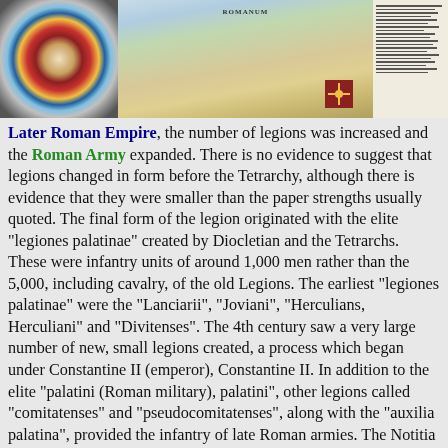[Figure (photo): Three images side by side: a Roman shield (round, decorated), a map of the Roman Empire, and a text list/document]
Later Roman Empire, the number of legions was increased and the Roman Army expanded. There is no evidence to suggest that legions changed in form before the Tetrarchy, although there is evidence that they were smaller than the paper strengths usually quoted. The final form of the legion originated with the elite "legiones palatinae" created by Diocletian and the Tetrarchs. These were infantry units of around 1,000 men rather than the 5,000, including cavalry, of the old Legions. The earliest "legiones palatinae" were the "Lanciarii", "Joviani", "Herculians, Herculiani" and "Divitenses". The 4th century saw a very large number of new, small legions created, a process which began under Constantine II (emperor), Constantine II. In addition to the elite "palatini (Roman military), palatini", other legions called "comitatenses" and "pseudocomitatenses", along with the "auxilia palatina", provided the infantry of late Roman armies. The Notitia Dignitatum lists 25 "legiones palatinae", 70 "legiones comitatenses", 47 "legiones pseudocomitatenses" and 111 "auxilia palatina" in the field armies, and a further